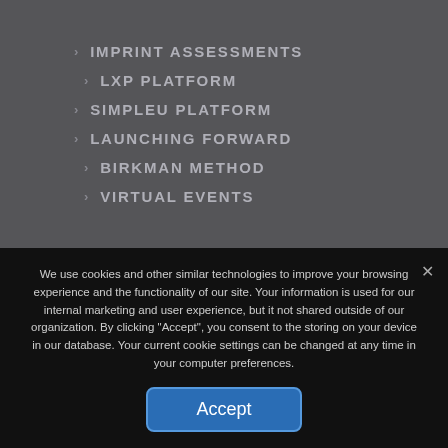> IMPRINT ASSESSMENTS
> LXP PLATFORM
> SIMPLEU PLATFORM
> LAUNCHING FORWARD
> BIRKMAN METHOD
> VIRTUAL EVENTS
We use cookies and other similar technologies to improve your browsing experience and the functionality of our site. Your information is used for our internal marketing and user experience, but it not shared outside of our organization. By clicking "Accept", you consent to the storing on your device in our database. Your current cookie settings can be changed at any time in your computer preferences.